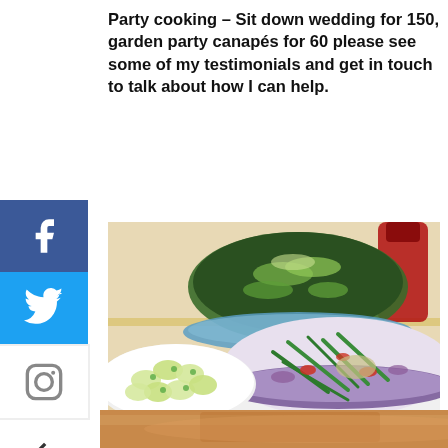Party cooking – Sit down wedding for 150, garden party canapés for 60 please see some of my testimonials and get in touch to talk about how I can help.
[Figure (photo): Food styling photo showing multiple dishes: a dark leafy salad with sprouts in a blue bowl, a vibrant green bean and red pepper salad in a purple bowl, and devilled eggs garnished with dill on a white plate. A bottle of red sauce visible in background. Laid on a patterned tablecloth.]
[Figure (photo): Partial view of another food dish at the bottom of the page, warm tones.]